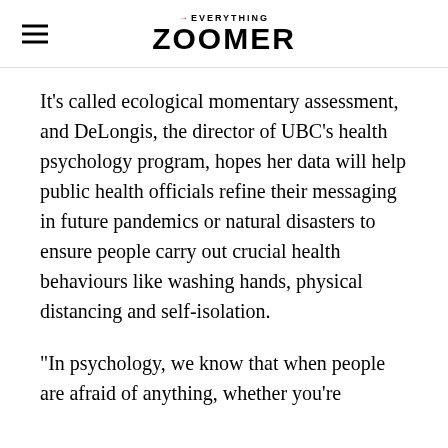→EVERYTHING ZOOMER
It’s called ecological momentary assessment, and DeLongis, the director of UBC’s health psychology program, hopes her data will help public health officials refine their messaging in future pandemics or natural disasters to ensure people carry out crucial health behaviours like washing hands, physical distancing and self-isolation.
“In psychology, we know that when people are afraid of anything, whether you’re